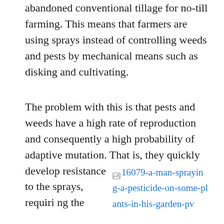abandoned conventional tillage for no-till farming. This means that farmers are using sprays instead of controlling weeds and pests by mechanical means such as disking and cultivating.
The problem with this is that pests and weeds have a high rate of reproduction and consequently a high probability of adaptive mutation. That is, they quickly develop resistance to the sprays, requiring the
[Figure (photo): Broken image link placeholder for: 16079-a-man-spraying-a-pesticide-on-some-plants-in-his-garden-pv]